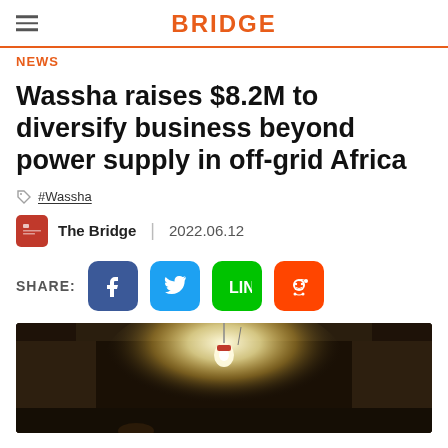BRIDGE
NEWS
Wassha raises $8.2M to diversify business beyond power supply in off-grid Africa
#Wassha
The Bridge | 2022.06.12
SHARE:
[Figure (photo): Interior photo showing a glowing light bulb hanging from a dark ceiling, illuminating a room with mud/clay walls]